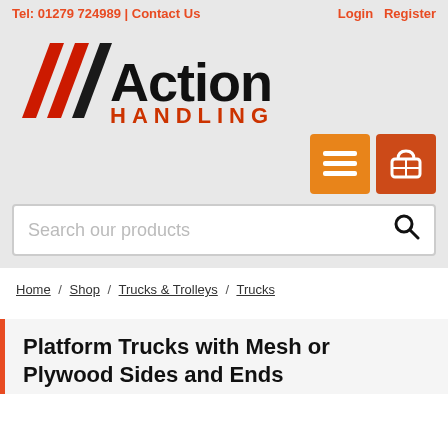Tel: 01279 724989 | Contact Us   Login  Register
[Figure (logo): Action Handling logo with red diagonal lines and bold text]
[Figure (infographic): Orange hamburger menu button and darker orange shopping cart button]
Search our products
Home / Shop / Trucks & Trolleys / Trucks
Platform Trucks with Mesh or Plywood Sides and Ends